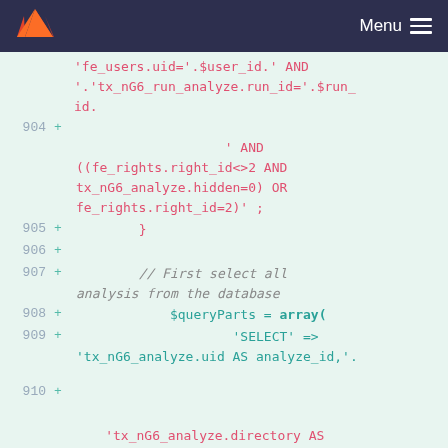Menu
[Figure (screenshot): GitLab source code diff view showing PHP code lines 904-910 with additions marked by + signs. Code includes SQL query construction with fe_users, tx_nG6_run_analyze, fe_rights tables, and array construction for SELECT query.]